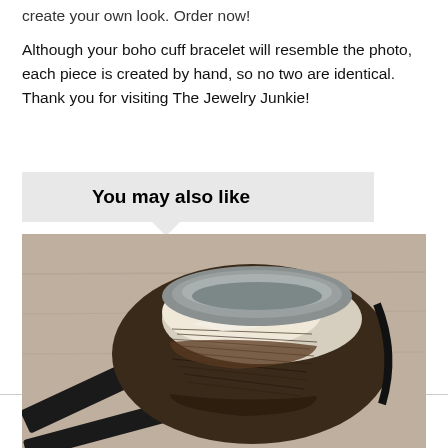create your own look. Order now!

Although your boho cuff bracelet will resemble the photo, each piece is created by hand, so no two are identical. Thank you for visiting The Jewelry Junkie!
You may also like
[Figure (photo): Close-up photo of a cowhide leather cuff bracelet with brown and white hair-on hide exterior and grey suede interior lining, placed on a wooden surface with black leather straps in the background.]